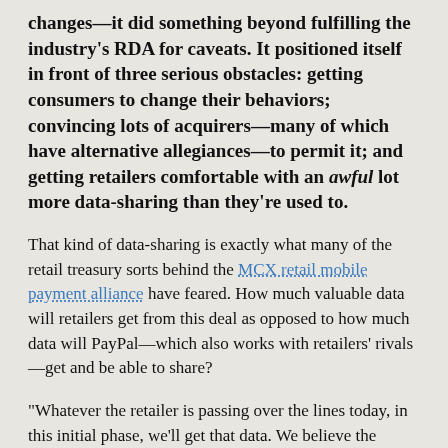changes—it did something beyond fulfilling the industry's RDA for caveats. It positioned itself in front of three serious obstacles: getting consumers to change their behaviors; convincing lots of acquirers—many of which have alternative allegiances—to permit it; and getting retailers comfortable with an awful lot more data-sharing than they're used to.
That kind of data-sharing is exactly what many of the retail treasury sorts behind the MCX retail mobile payment alliance have feared. How much valuable data will retailers get from this deal as opposed to how much data will PayPal—which also works with retailers' rivals—get and be able to share?
"Whatever the retailer is passing over the lines today, in this initial phase, we'll get that data. We believe the